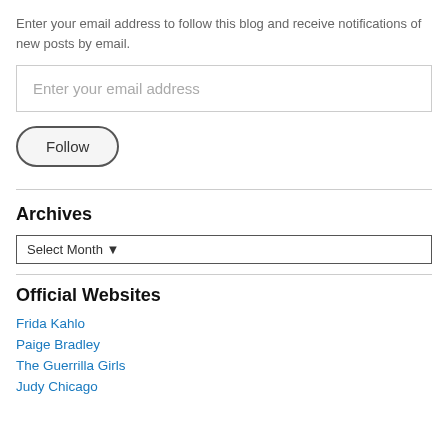Enter your email address to follow this blog and receive notifications of new posts by email.
[Figure (other): Email address input field with placeholder text 'Enter your email address']
[Figure (other): Follow button with rounded pill shape]
Archives
[Figure (other): Select Month dropdown menu]
Official Websites
Frida Kahlo
Paige Bradley
The Guerrilla Girls
Judy Chicago